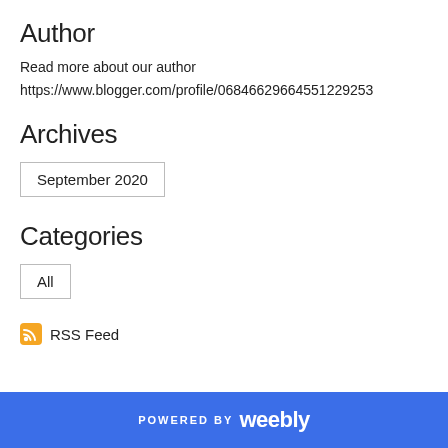Author
Read more about our author
https://www.blogger.com/profile/06846629664551229253
Archives
September 2020
Categories
All
RSS Feed
POWERED BY weebly